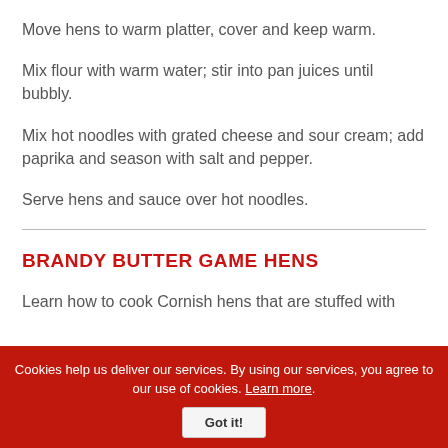Move hens to warm platter, cover and keep warm.
Mix flour with warm water; stir into pan juices until bubbly.
Mix hot noodles with grated cheese and sour cream; add paprika and season with salt and pepper.
Serve hens and sauce over hot noodles.
BRANDY BUTTER GAME HENS
Learn how to cook Cornish hens that are stuffed with
Cookies help us deliver our services. By using our services, you agree to our use of cookies. Learn more.